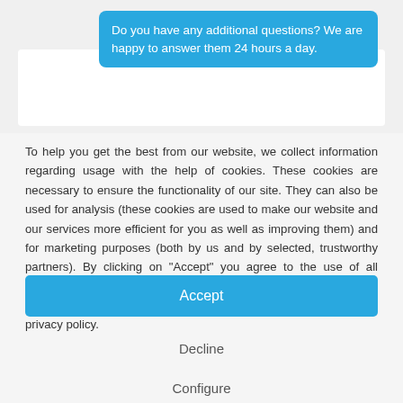Do you have any additional questions? We are happy to answer them 24 hours a day.
To help you get the best from our website, we collect information regarding usage with the help of cookies. These cookies are necessary to ensure the functionality of our site. They can also be used for analysis (these cookies are used to make our website and our services more efficient for you as well as improving them) and for marketing purposes (both by us and by selected, trustworthy partners). By clicking on "Accept" you agree to the use of all cookies. If you choose not to, you can select the cookies you are happy to use here. Click here for more information about our privacy policy.
Accept
Decline
Configure